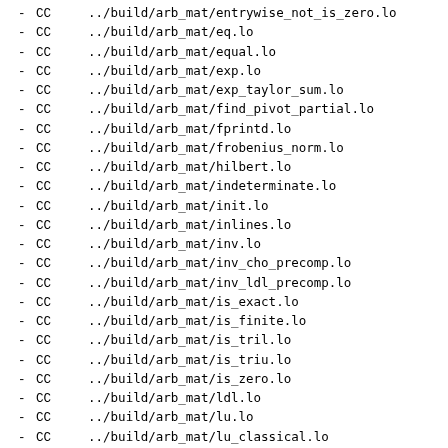- CC ../build/arb_mat/entrywise_not_is_zero.lo
- CC ../build/arb_mat/eq.lo
- CC ../build/arb_mat/equal.lo
- CC ../build/arb_mat/exp.lo
- CC ../build/arb_mat/exp_taylor_sum.lo
- CC ../build/arb_mat/find_pivot_partial.lo
- CC ../build/arb_mat/fprintd.lo
- CC ../build/arb_mat/frobenius_norm.lo
- CC ../build/arb_mat/hilbert.lo
- CC ../build/arb_mat/indeterminate.lo
- CC ../build/arb_mat/init.lo
- CC ../build/arb_mat/inlines.lo
- CC ../build/arb_mat/inv.lo
- CC ../build/arb_mat/inv_cho_precomp.lo
- CC ../build/arb_mat/inv_ldl_precomp.lo
- CC ../build/arb_mat/is_exact.lo
- CC ../build/arb_mat/is_finite.lo
- CC ../build/arb_mat/is_tril.lo
- CC ../build/arb_mat/is_triu.lo
- CC ../build/arb_mat/is_zero.lo
- CC ../build/arb_mat/ldl.lo
- CC ../build/arb_mat/lu.lo
- CC ../build/arb_mat/lu_classical.lo
- CC ../build/arb_mat/lu_recursive.lo
- CC ../build/arb_mat/mul.lo
- CC ../build/arb_mat/mul_block.lo
- CC ../build/arb_mat/mul_classical.lo
- CC ../build/arb_mat/mul_entrywise.lo
- CC ../build/arb_mat/mul_threaded.lo
- CC ../build/arb_mat/ne.lo